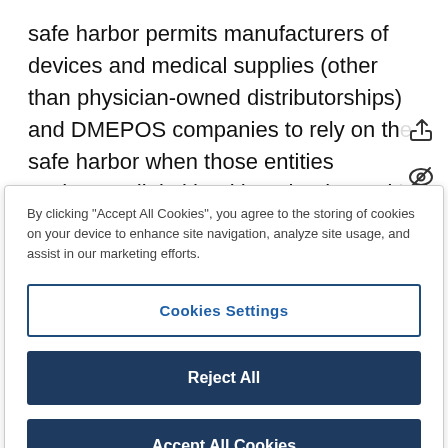safe harbor permits manufacturers of devices and medical supplies (other than physician-owned distributorships) and DMEPOS companies to rely on the safe harbor when those entities exchange digital health technology with a VBE or another VBE participant. In such circumstances, the manufacturers of devices and medical supplies, and DMEPOS companies, are "limited technolo...
By clicking "Accept All Cookies", you agree to the storing of cookies on your device to enhance site navigation, analyze site usage, and assist in our marketing efforts.
Cookies Settings
Reject All
Accept All Cookies